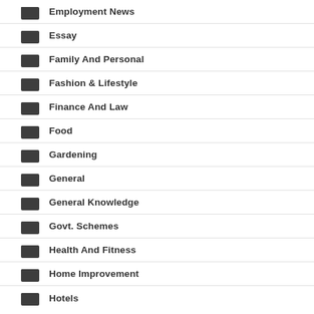Employment News
Essay
Family And Personal
Fashion & Lifestyle
Finance And Law
Food
Gardening
General
General Knowledge
Govt. Schemes
Health And Fitness
Home Improvement
Hotels